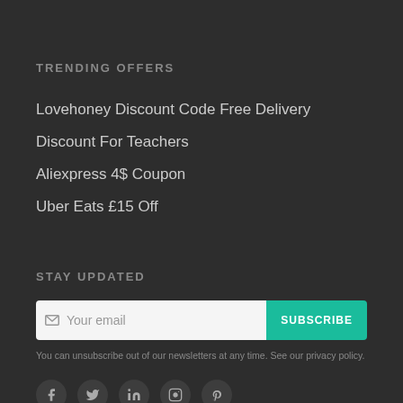TRENDING OFFERS
Lovehoney Discount Code Free Delivery
Discount For Teachers
Aliexpress 4$ Coupon
Uber Eats £15 Off
STAY UPDATED
[Figure (other): Email subscription form with 'Your email' input field and teal SUBSCRIBE button]
You can unsubscribe out of our newsletters at any time. See our privacy policy.
[Figure (other): Social media icons row: Facebook, Twitter, LinkedIn, Instagram, Pinterest]